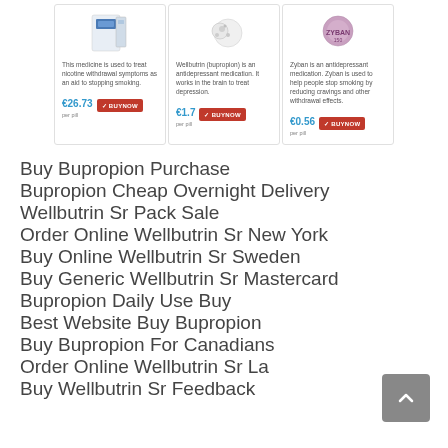[Figure (screenshot): Three product cards for Bupropion/Wellbutrin medications showing product images, descriptions, prices (€26.73, €1.7, €0.56) and Buy Now buttons]
Buy Bupropion Purchase
Bupropion Cheap Overnight Delivery
Wellbutrin Sr Pack Sale
Order Online Wellbutrin Sr New York
Buy Online Wellbutrin Sr Sweden
Buy Generic Wellbutrin Sr Mastercard
Bupropion Daily Use Buy
Best Website Buy Bupropion
Buy Bupropion For Canadians
Order Online Wellbutrin Sr La
Buy Wellbutrin Sr Feedback